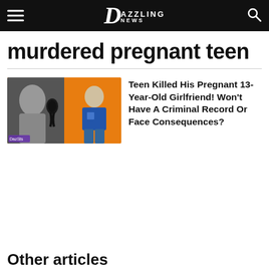Dazzling News
murdered pregnant teen
[Figure (photo): Thumbnail image showing a grieving girl in black-and-white on the left, a black memorial ribbon, and a teen boy in a blue t-shirt on an orange background on the right]
Teen Killed His Pregnant 13-Year-Old Girlfriend! Won't Have A Criminal Record Or Face Consequences?
Other articles